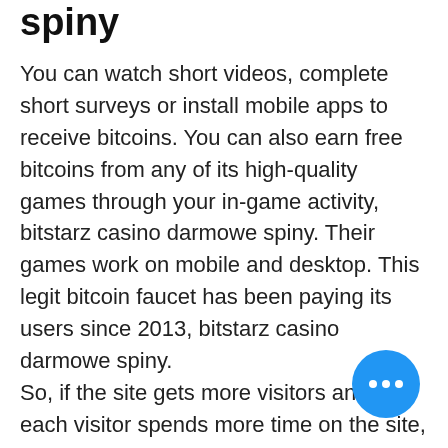spiny
You can watch short videos, complete short surveys or install mobile apps to receive bitcoins. You can also earn free bitcoins from any of its high-quality games through your in-game activity, bitstarz casino darmowe spiny. Their games work on mobile and desktop. This legit bitcoin faucet has been paying its users since 2013, bitstarz casino darmowe spiny.
So, if the site gets more visitors and if each visitor spends more time on the site, the site owner gets more money from the displayed ads, bitstarz casino darmowe spiny. This is the reason faucet websites give you tasks to finish and offer rewards so you will stay longer on their page. In addition, the rewards attract more visitors to come back regularly to earn more free bitcoins or claim their compensation. As a result, the visitors more time on the faucet. Faucets are important in the bitcoin system because it